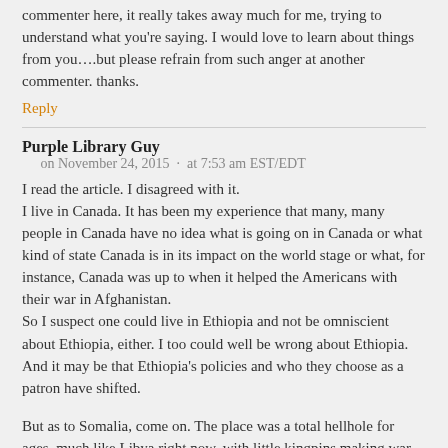commenter here, it really takes away much for me, trying to understand what you're saying. I would love to learn about things from you….but please refrain from such anger at another commenter. thanks.
Reply
Purple Library Guy   on November 24, 2015  ·  at 7:53 am EST/EDT
I read the article. I disagreed with it.
I live in Canada. It has been my experience that many, many people in Canada have no idea what is going on in Canada or what kind of state Canada is in its impact on the world stage or what, for instance, Canada was up to when it helped the Americans with their war in Afghanistan.
So I suspect one could live in Ethiopia and not be omniscient about Ethiopia, either. I too could well be wrong about Ethiopia. And it may be that Ethiopia's policies and who they choose as a patron have shifted.
But as to Somalia, come on. The place was a total hellhole for ages, much like Libya right now, with little kingpins making war on each other and the people caught in the middle. Somewhere in